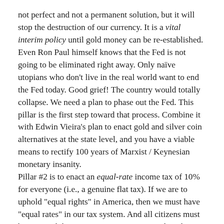not perfect and not a permanent solution, but it will stop the destruction of our currency. It is a vital interim policy until gold money can be re-established. Even Ron Paul himself knows that the Fed is not going to be eliminated right away. Only naïve utopians who don't live in the real world want to end the Fed today. Good grief! The country would totally collapse. We need a plan to phase out the Fed. This pillar is the first step toward that process. Combine it with Edwin Vieira's plan to enact gold and silver coin alternatives at the state level, and you have a viable means to rectify 100 years of Marxist / Keynesian monetary insanity.
Pillar #2 is to enact an equal-rate income tax of 10% for everyone (i.e., a genuine flat tax). If we are to uphold "equal rights" in America, then we must have "equal rates" in our tax system. And all citizens must be assessed the tax. No exemptions. Period. Only in this way can we have a responsible electorate. When all people have to pay proportionally for their government services, they will begin to vote for less government